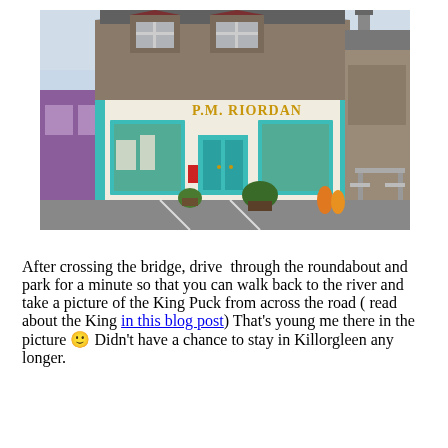[Figure (photo): A photograph of a shop front called P.M. Riordan. The building has a cream/white facade with turquoise/teal window frames and door. The upper floors are stone with grey slate roof and dormer windows. A purple building is visible to the left. Pots of plants sit outside the shop. A picnic table is visible to the right.]
After crossing the bridge, drive  through the roundabout and park for a minute so that you can walk back to the river and take a picture of the King Puck from across the road ( read about the King in this blog post) That's young me there in the picture 🙂 Didn't have a chance to stay in Killorgleen any longer.